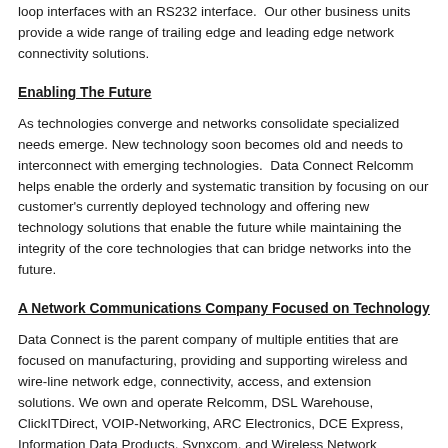loop interfaces with an RS232 interface.  Our other business units provide a wide range of trailing edge and leading edge network connectivity solutions.
Enabling The Future
As technologies converge and networks consolidate specialized needs emerge. New technology soon becomes old and needs to interconnect with emerging technologies.  Data Connect Relcomm helps enable the orderly and systematic transition by focusing on our customer's currently deployed technology and offering new technology solutions that enable the future while maintaining the integrity of the core technologies that can bridge networks into the future.
A Network Communications Company Focused on Technology
Data Connect is the parent company of multiple entities that are focused on manufacturing, providing and supporting wireless and wire-line network edge, connectivity, access, and extension solutions. We own and operate Relcomm, DSL Warehouse, ClickITDirect, VOIP-Networking, ARC Electronics, DCE Express, Information Data Products, Synxcom, and Wireless Network...